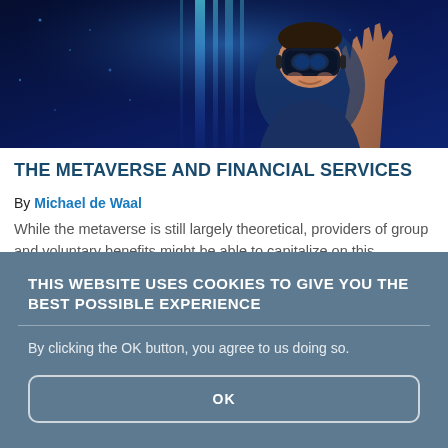[Figure (photo): A person wearing a VR headset against a glowing blue digital/metaverse background with light beams and digital particles]
THE METAVERSE AND FINANCIAL SERVICES
By Michael de Waal
While the metaverse is still largely theoretical, providers of group and voluntary benefits might be able to capitalize on this emerging technology. Let's speculate!
THIS WEBSITE USES COOKIES TO GIVE YOU THE BEST POSSIBLE EXPERIENCE
By clicking the OK button, you agree to us doing so.
OK